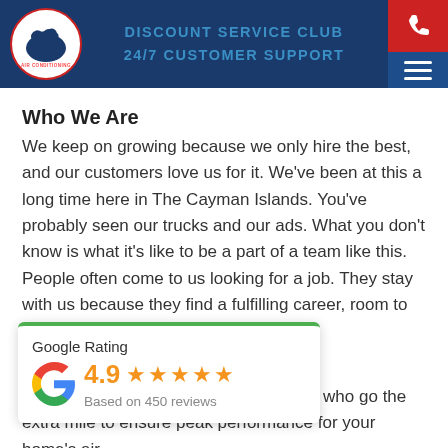DISCOUNT SERVICE CLUB
24/7 CUSTOMER SUPPORT
Who We Are
We keep on growing because we only hire the best, and our customers love us for it. We’ve been at this a long time here in The Cayman Islands. You’ve probably seen our trucks and our ads. What you don’t know is what it’s like to be a part of a team like this. People often come to us looking for a job. They stay with us because they find a fulfilling career, room to grow, and opportunities to
[Figure (other): Google Rating widget showing 4.9 stars based on 450 reviews]
We are a team of home service experts who go the extra mile to ensure peak performance for your home’s air